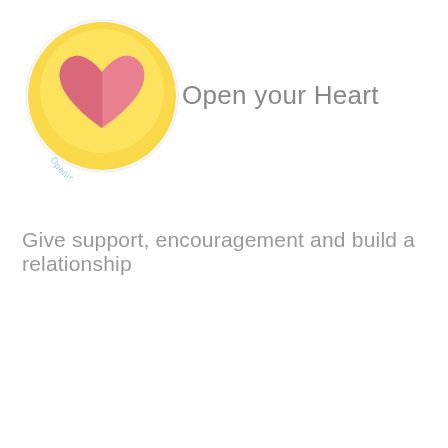[Figure (logo): Circular logo with yellow background and a pink/rose heart shape in the center. Text curved along the bottom reads 'Opening My Heart'.]
Open your Heart
Give support, encouragement and build a relationship